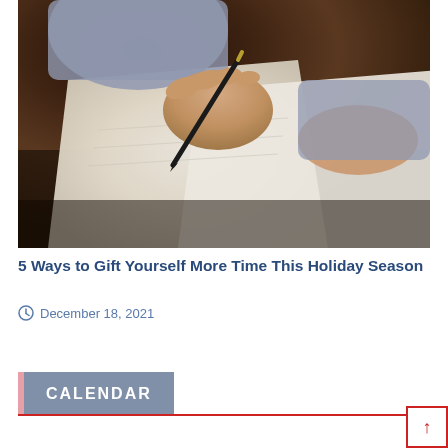[Figure (photo): Close-up photo of a person's hands writing on paper with a pen, dark wooden table background]
5 Ways to Gift Yourself More Time This Holiday Season
December 18, 2021
CALENDAR